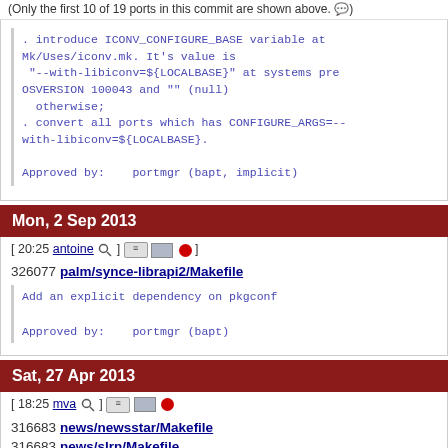(Only the first 10 of 19 ports in this commit are shown above.)
. introduce ICONV_CONFIGURE_BASE variable at Mk/Uses/iconv.mk. It's value is "--with-libiconv=${LOCALBASE}" at systems pre OSVERSION 100043 and "" (null) otherwise;
. convert all ports which has CONFIGURE_ARGS=--with-libiconv=${LOCALBASE}.

Approved by:    portmgr (bapt, implicit)
Mon, 2 Sep 2013
[ 20:25 antoine ] [icons]
326077 palm/synce-librapi2/Makefile
Add an explicit dependency on pkgconf

Approved by:    portmgr (bapt)
Sat, 27 Apr 2013
[ 18:25 mva ] [icons]
316683 news/newsstar/Makefile
316683 news/slrn/Makefile